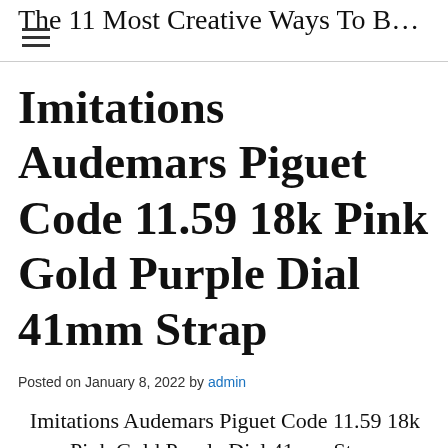The 11 Most Creative Ways To B…
Imitations Audemars Piguet Code 11.59 18k Pink Gold Purple Dial 41mm Strap
Posted on January 8, 2022 by admin
Imitations Audemars Piguet Code 11.59 18k Pink Gold Purple Dial 41mm Strap